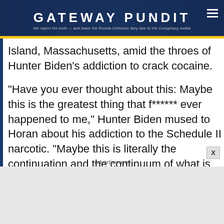[Figure (screenshot): Gateway Pundit website header with logo, tagline, and hamburger menu on dark blue background with crowd photo]
Island, Massachusetts, amid the throes of Hunter Biden’s addiction to crack cocaine.
“Have you ever thought about this: Maybe this is the greatest thing that f****** ever happened to me,” Hunter Biden mused to Horan about his addiction to the Schedule II narcotic. “Maybe this is literally the continuation and the continuum of what is going to be the thing that makes me the person that my father believes I am.”
Advertisement